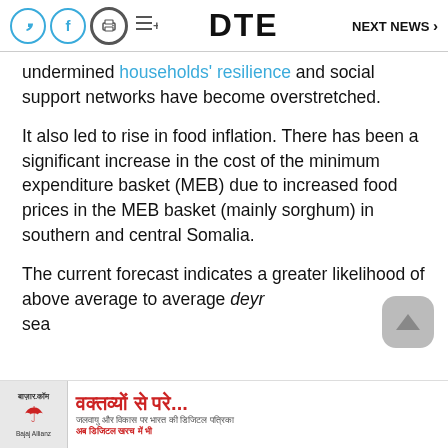DTE  NEXT NEWS >
undermined households' resilience and social support networks have become overstretched.
It also led to rise in food inflation. There has been a significant increase in the cost of the minimum expenditure basket (MEB) due to increased food prices in the MEB basket (mainly sorghum) in southern and central Somalia.
The current forecast indicates a greater likelihood of above average to average deyr sea...